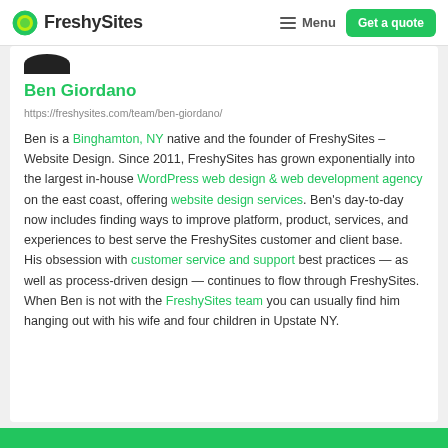FreshySites | Menu | Get a quote
Ben Giordano
https://freshysites.com/team/ben-giordano/
Ben is a Binghamton, NY native and the founder of FreshySites – Website Design. Since 2011, FreshySites has grown exponentially into the largest in-house WordPress web design & web development agency on the east coast, offering website design services. Ben's day-to-day now includes finding ways to improve platform, product, services, and experiences to best serve the FreshySites customer and client base. His obsession with customer service and support best practices — as well as process-driven design — continues to flow through FreshySites. When Ben is not with the FreshySites team you can usually find him hanging out with his wife and four children in Upstate NY.